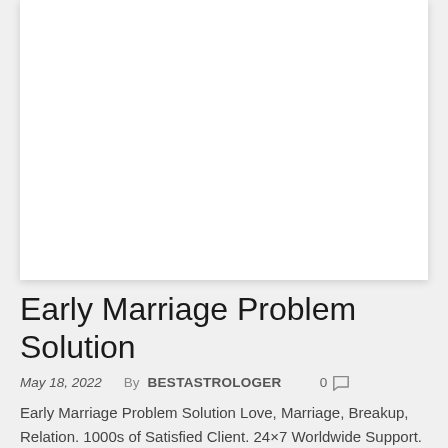[Figure (photo): White blank image placeholder area at top of card]
Early Marriage Problem Solution
May 18, 2022    By  BESTASTROLOGER        0  💬
Early Marriage Problem Solution Love, Marriage, Breakup, Relation. 1000s of Satisfied Client. 24×7 Worldwide Support.